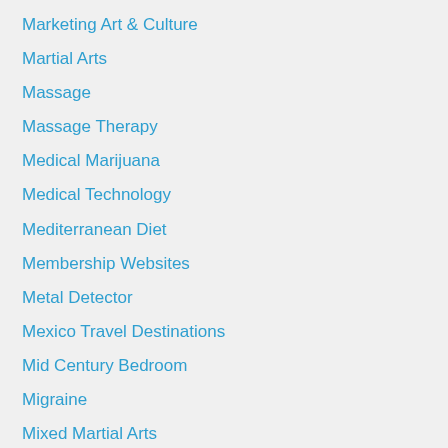Marketing Art & Culture
Martial Arts
Massage
Massage Therapy
Medical Marijuana
Medical Technology
Mediterranean Diet
Membership Websites
Metal Detector
Mexico Travel Destinations
Mid Century Bedroom
Migraine
Mixed Martial Arts
Mobile Spy Software
Monster High Dolls